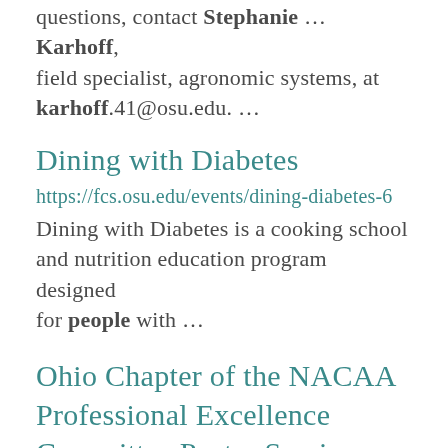questions, contact Stephanie ... Karhoff, field specialist, agronomic systems, at karhoff.41@osu.edu. ...
Dining with Diabetes
https://fcs.osu.edu/events/dining-diabetes-6 Dining with Diabetes is a cooking school and nutrition education program designed for people with ...
Ohio Chapter of the NACAA Professional Excellence Committee Poster Session Winners Announced